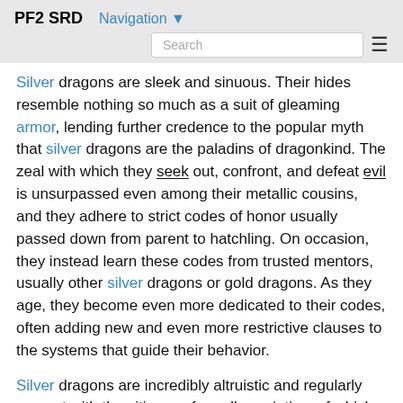PF2 SRD  Navigation  Search
Silver dragons are sleek and sinuous. Their hides resemble nothing so much as a suit of gleaming armor, lending further credence to the popular myth that silver dragons are the paladins of dragonkind. The zeal with which they seek out, confront, and defeat evil is unsurpassed even among their metallic cousins, and they adhere to strict codes of honor usually passed down from parent to hatchling. On occasion, they instead learn these codes from trusted mentors, usually other silver dragons or gold dragons. As they age, they become even more dedicated to their codes, often adding new and even more restrictive clauses to the systems that guide their behavior.
Silver dragons are incredibly altruistic and regularly consort with the citizens of goodly societies, of which they consider